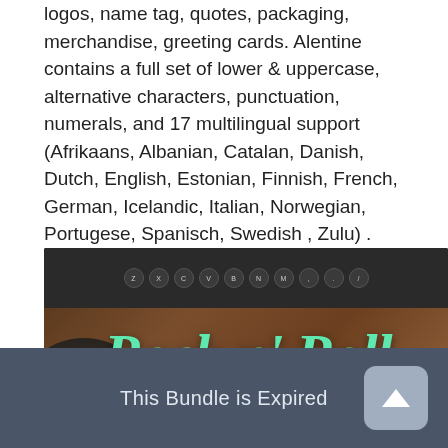logos, name tag, quotes, packaging, merchandise, greeting cards. Alentine contains a full set of lower & uppercase, alternative characters, punctuation, numerals, and 17 multilingual support (Afrikaans, Albanian, Catalan, Danish, Dutch, English, Estonian, Finnish, French, German, Icelandic, Italian, Norwegian, Portugese, Spanisch, Swedish , Zulu) . The alternative characters in this typeface were divided into several OpenType features such as Stylistic Alternates, Stylistic Sets,Contextual alternative and Ligature.
[Figure (photo): Dark promotional image showing a typewriter keyboard at the top on a wooden surface with a vinyl record on the left. Mint/teal colored script text reads 'Rock n' Roll' and partially 'Studio' cut off at the bottom. A 'metro' logo watermark is visible in the lower left.]
This Bundle is Expired